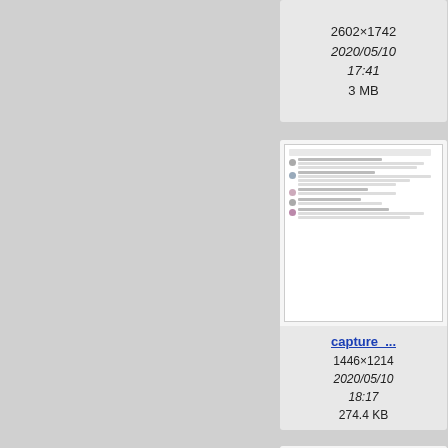[Figure (screenshot): File tile top-left (partially visible): capture_... 2602x1742, 2020/05/10 17:41, 3 MB]
[Figure (screenshot): File tile top-right (partially visible): capture_... 2844..., 2020/..., 17..., 3.5...]
[Figure (screenshot): File tile middle-left: thumbnail shows a Twitter/social media screenshot. capture_... 1446x1214, 2020/05/10 18:17, 274.4 KB]
[Figure (screenshot): File tile middle-right (partially visible): capture_... 1440..., 2020/..., 18..., 173....]
[Figure (screenshot): File tile bottom-left: thumbnail shows a table/spreadsheet document. capture_... 2400...]
[Figure (screenshot): File tile bottom-right (partially visible): captu... (cut off)]